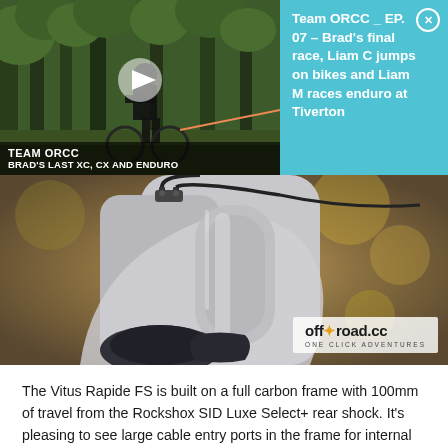[Figure (screenshot): Video thumbnail showing mountain biker in forest with 'TEAM ORCC / BRAD'S LAST XC, CX AND ENDURO' overlay text and play button]
Team ORCC _ EP. 07 – Brad's final race, Liam C jumps on bikes and Liam M races enduro at Tiverton
[Figure (photo): Close-up photo of Vitus Rapide FS carbon bike frame showing cable entry ports and internal routing, with off-road.cc ONE CLICK ADVENTURES watermark]
The Vitus Rapide FS is built on a full carbon frame with 100mm of travel from the Rockshox SID Luxe Select+ rear shock. It's pleasing to see large cable entry ports in the frame for internal routing that makes cable routing easy when replacements are needed. Neither the CR nor the pricier CRX model (£3,299) features a dropper post as